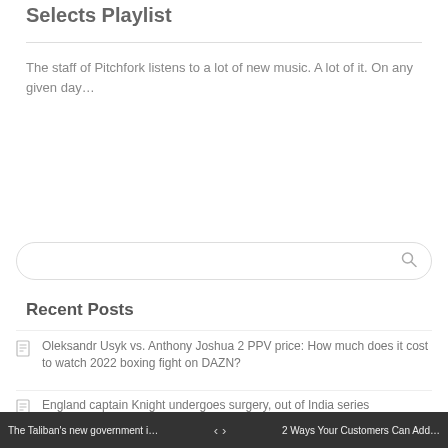Selects Playlist
The staff of Pitchfork listens to a lot of new music. A lot of it. On any given day…
Recent Posts
Oleksandr Usyk vs. Anthony Joshua 2 PPV price: How much does it cost to watch 2022 boxing fight on DAZN?
England captain Knight undergoes surgery, out of India series
House of the Dragon Review: A Beautifully-Made History Lesson From…
The Taliban's new government i… ‹ › 2 Ways Your Customers Can Add…